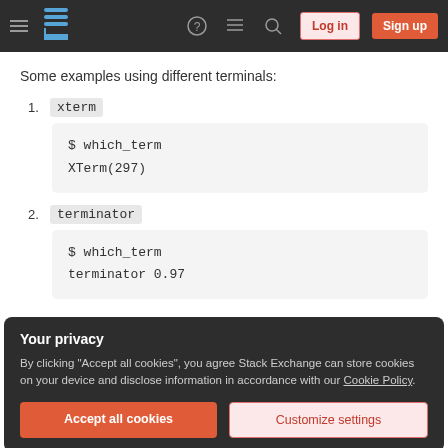Stack Exchange navigation bar with hamburger menu, logo, help, chat, search, Log in, and Sign up buttons
Some examples using different terminals:
1. xterm
$ which_term
XTerm(297)
2. terminator
$ which_term
terminator 0.97
Your privacy
By clicking "Accept all cookies", you agree Stack Exchange can store cookies on your device and disclose information in accordance with our Cookie Policy.
Accept all cookies  Customize settings